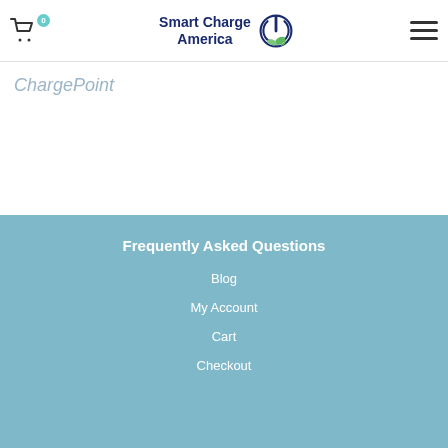Smart Charge America — navigation header with cart icon and hamburger menu
ChargePoint
Frequently Asked Questions
Blog
My Account
Cart
Checkout